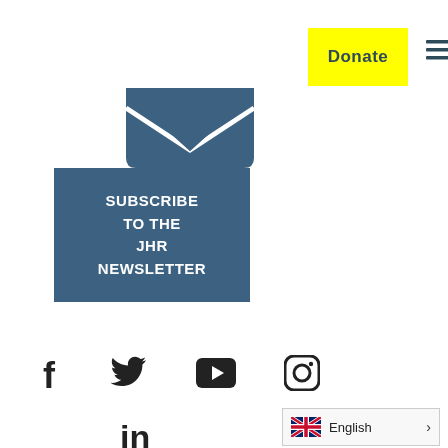[Figure (other): Yellow Donate button in top right area]
[Figure (other): Hamburger menu icon (three horizontal lines)]
[Figure (other): Email/envelope icon in dark blue, partially cropped at top]
[Figure (other): Dark blue square button with text SUBSCRIBE TO THE JHR NEWSLETTER in white uppercase bold]
[Figure (other): Social media icons: Facebook, Twitter, YouTube, Instagram in a row, and LinkedIn below]
[Figure (other): Language selector showing UK flag and English with chevron arrow]